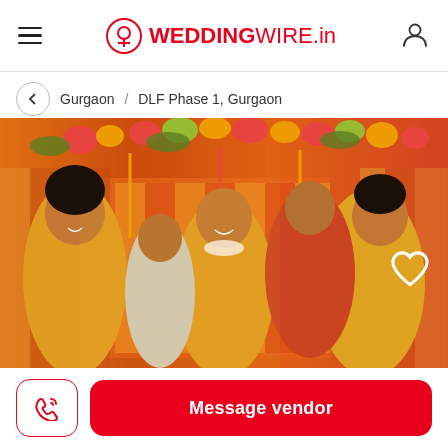WEDDINGWIRE.in
Gurgaon / DLF Phase 1, Gurgaon
[Figure (photo): Indian wedding celebration photo showing a bride covered in yellow powder being teased by female friends and family at a Haldi ceremony, with orange and red floral decorations in the background.]
Message vendor